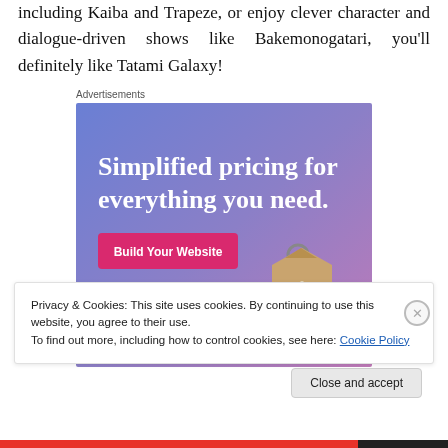including Kaiba and Trapeze, or enjoy clever character and dialogue-driven shows like Bakemonogatari, you'll definitely like Tatami Galaxy!
Advertisements
[Figure (screenshot): Advertisement banner with purple-blue gradient background, large white serif text reading 'Simplified pricing for everything you need.' with a pink 'Build Your Website' button and a tan price tag graphic on the right.]
Privacy & Cookies: This site uses cookies. By continuing to use this website, you agree to their use.
To find out more, including how to control cookies, see here: Cookie Policy